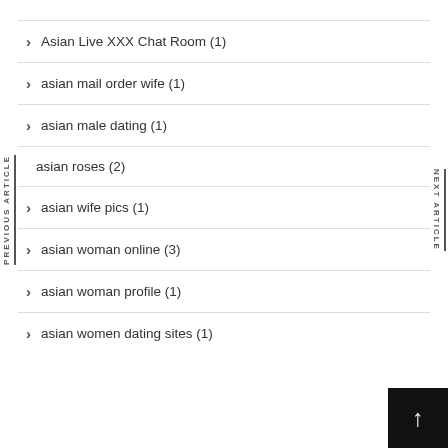Asian Live XXX Chat Room (1)
asian mail order wife (1)
asian male dating (1)
asian roses (2)
asian wife pics (1)
asian woman online (3)
asian woman profile (1)
asian women dating sites (1)